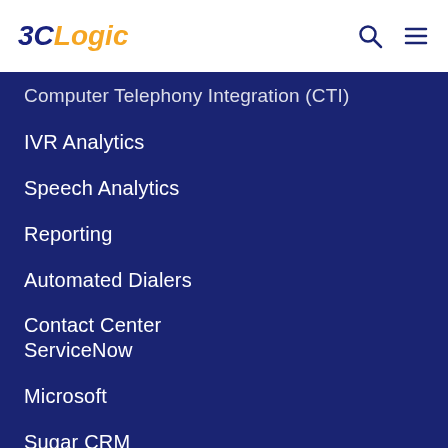3CLogic
Computer Telephony Integration (CTI)
IVR Analytics
Speech Analytics
Reporting
Automated Dialers
Contact Center ServiceNow
Microsoft
Sugar CRM
SAP
Universal CTI